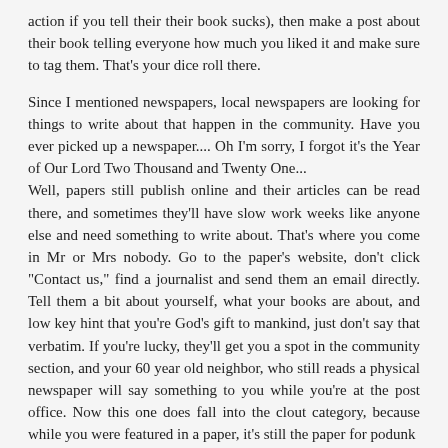action if you tell their their book sucks), then make a post about their book telling everyone how much you liked it and make sure to tag them. That's your dice roll there.
Since I mentioned newspapers, local newspapers are looking for things to write about that happen in the community. Have you ever picked up a newspaper.... Oh I'm sorry, I forgot it's the Year of Our Lord Two Thousand and Twenty One... Well, papers still publish online and their articles can be read there, and sometimes they'll have slow work weeks like anyone else and need something to write about. That's where you come in Mr or Mrs nobody. Go to the paper's website, don't click "Contact us," find a journalist and send them an email directly. Tell them a bit about yourself, what your books are about, and low key hint that you're God's gift to mankind, just don't say that verbatim. If you're lucky, they'll get you a spot in the community section, and your 60 year old neighbor, who still reads a physical newspaper will say something to you while you're at the post office. Now this one does fall into the clout category, because while you were featured in a paper, it's still the paper for podunk